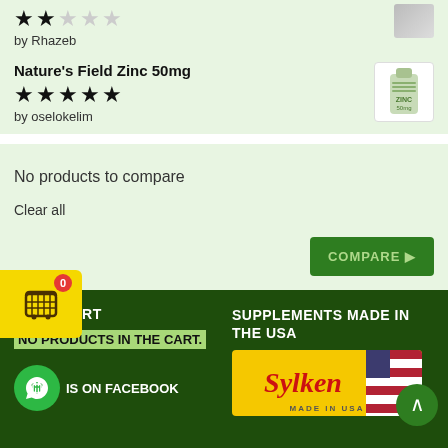★★★☆☆ by Rhazeb
Nature's Field Zinc 50mg ★★★★★ by oselokelim
[Figure (other): Small product thumbnail image (Nature's Field Zinc 50mg bottle)]
No products to compare
Clear all
COMPARE
[Figure (other): Shopping cart icon with yellow background and badge showing 0]
YOUR CART
NO PRODUCTS IN THE CART.
SUPPLEMENTS MADE IN THE USA
IS ON FACEBOOK
[Figure (logo): Sylken brand logo with yellow background, red italic Sylken text, and American flag design with MADE IN USA text]
[Figure (other): WhatsApp green circular icon button]
[Figure (other): Scroll to top green circular button with upward arrow]